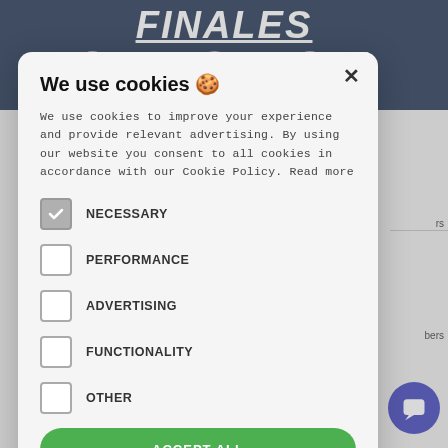FINALES QUESTION
We use cookies 🍪
We use cookies to improve your experience and provide relevant advertising. By using our website you consent to all cookies in accordance with our Cookie Policy. Read more
NECESSARY
PERFORMANCE
ADVERTISING
FUNCTIONALITY
OTHER
ACCEPT ALL